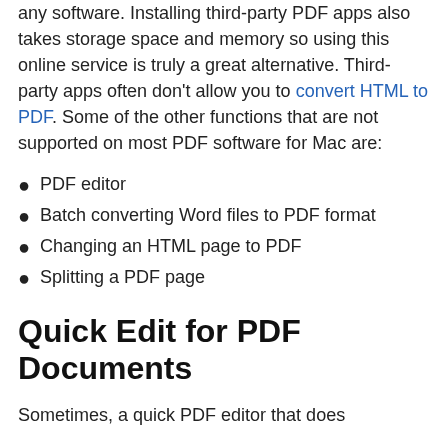any software. Installing third-party PDF apps also takes storage space and memory so using this online service is truly a great alternative. Third-party apps often don't allow you to convert HTML to PDF. Some of the other functions that are not supported on most PDF software for Mac are:
PDF editor
Batch converting Word files to PDF format
Changing an HTML page to PDF
Splitting a PDF page
Quick Edit for PDF Documents
Sometimes, a quick PDF editor that does